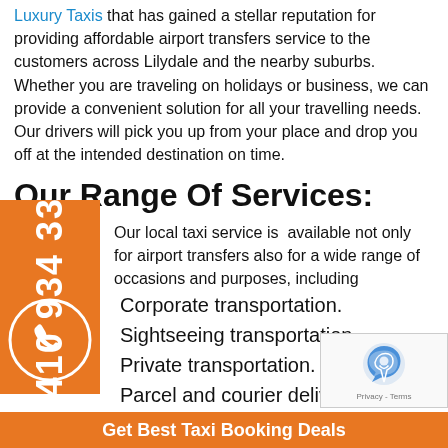Luxury Taxis that has gained a stellar reputation for providing affordable airport transfers service to the customers across Lilydale and the nearby suburbs. Whether you are traveling on holidays or business, we can provide a convenient solution for all your travelling needs. Our drivers will pick you up from your place and drop you off at the intended destination on time.
Our Range Of Services:
Our local taxi service is available not only for airport transfers also for a wide range of occasions and purposes, including
Corporate transportation.
Sightseeing transportation.
Private transportation.
Parcel and courier deliveries.
Premium cabs for a wedding.
Much more
Professional Drivers:
only employ experienced drivers who are well-vers... ur destina... certified and
Get Best Taxi Booking Deals